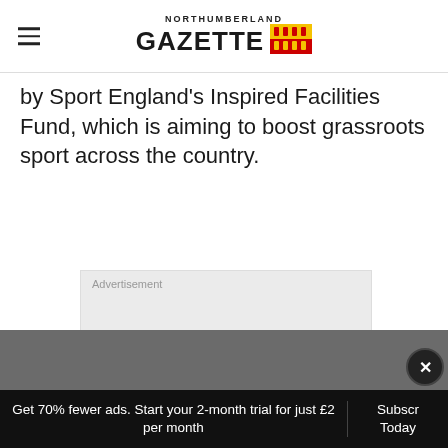NORTHUMBERLAND GAZETTE
by Sport England's Inspired Facilities Fund, which is aiming to boost grassroots sport across the country.
[Figure (other): Advertisement placeholder box with light gray background]
Get 70% fewer ads. Start your 2-month trial for just £2 per month | Subscribe Today